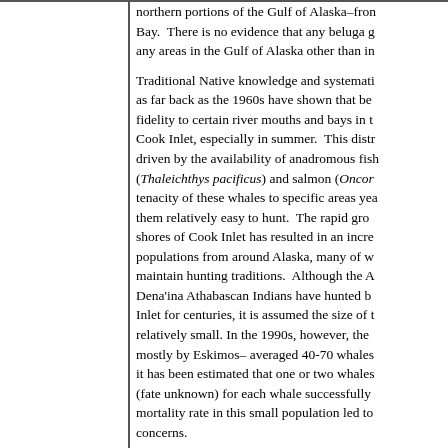northern portions of the Gulf of Alaska–fron Bay.  There is no evidence that any beluga g any areas in the Gulf of Alaska other than in
Traditional Native knowledge and systemati as far back as the 1960s have shown that be fidelity to certain river mouths and bays in t Cook Inlet, especially in summer.  This distr driven by the availability of anadromous fish (Thaleichthys pacificus) and salmon (Oncor tenacity of these whales to specific areas yea them relatively easy to hunt.  The rapid gro shores of Cook Inlet has resulted in an incre populations from around Alaska, many of w maintain hunting traditions.  Although the A Dena'ina Athabascan Indians have hunted b Inlet for centuries, it is assumed the size of t relatively small. In the 1990s, however, the mostly by Eskimos– averaged 40-70 whales it has been estimated that one or two whales (fate unknown) for each whale successfully mortality rate in this small population led to concerns.
Click here for aerial survey maps of beluga s